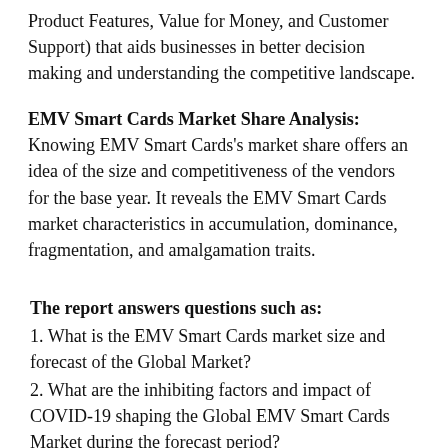Product Features, Value for Money, and Customer Support) that aids businesses in better decision making and understanding the competitive landscape.
EMV Smart Cards Market Share Analysis: Knowing EMV Smart Cards's market share offers an idea of the size and competitiveness of the vendors for the base year. It reveals the EMV Smart Cards market characteristics in accumulation, dominance, fragmentation, and amalgamation traits.
The report answers questions such as:
1. What is the EMV Smart Cards market size and forecast of the Global Market?
2. What are the inhibiting factors and impact of COVID-19 shaping the Global EMV Smart Cards Market during the forecast period?